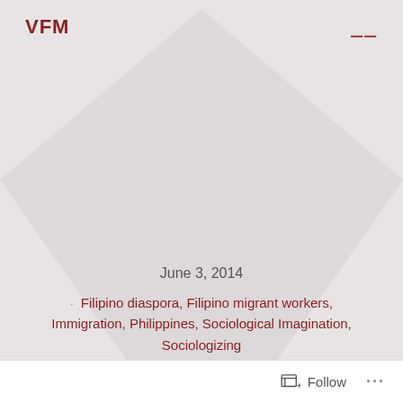VFM
June 3, 2014
Filipino diaspora, Filipino migrant workers, Immigration, Philippines, Sociological Imagination, Sociologizing
Filipinos in Costa
Follow ...